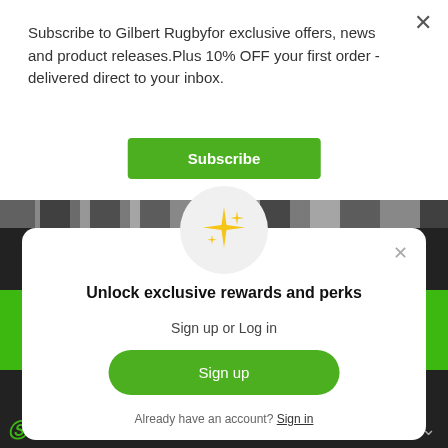Subscribe to Gilbert Rugbyfor exclusive offers, news and product releases.Plus 10% OFF your first order - delivered direct to your inbox.
Subscribe
[Figure (photo): Strip of crowd/people photos in a horizontal band]
[Figure (illustration): Gold sparkle/star emoji icon inside a light gray circle]
Unlock exclusive rewards and perks
Sign up or Log in
Sign up
Already have an account? Sign in